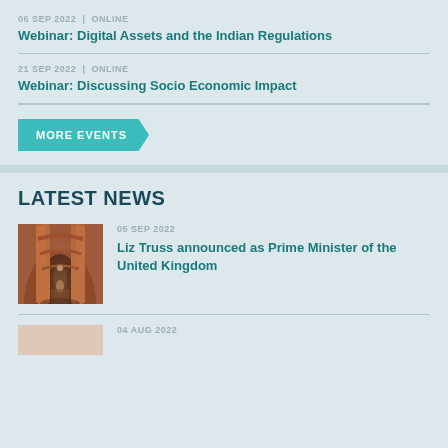06 SEP 2022 | ONLINE
Webinar: Digital Assets and the Indian Regulations
21 SEP 2022 | ONLINE
Webinar: Discussing Socio Economic Impact
MORE EVENTS
LATEST NEWS
05 SEP 2022
Liz Truss announced as Prime Minister of the United Kingdom
[Figure (photo): Person standing in an arched corridor]
04 AUG 2022